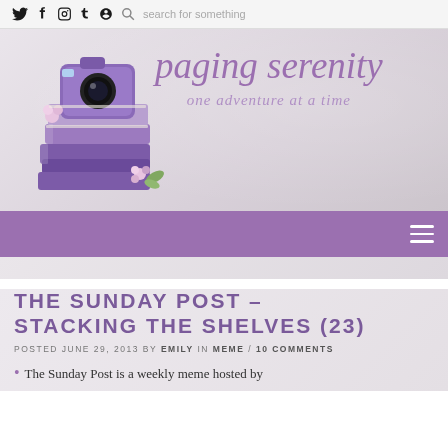𝕏 f ◻ t g 🔍 search for something
[Figure (logo): Paging Serenity blog logo: stack of purple books with camera and flowers, cursive purple text 'paging serenity', subtitle 'one adventure at a time']
THE SUNDAY POST – STACKING THE SHELVES (23)
POSTED JUNE 29, 2013 BY EMILY IN MEME / 10 COMMENTS
The Sunday Post is a weekly meme hosted by